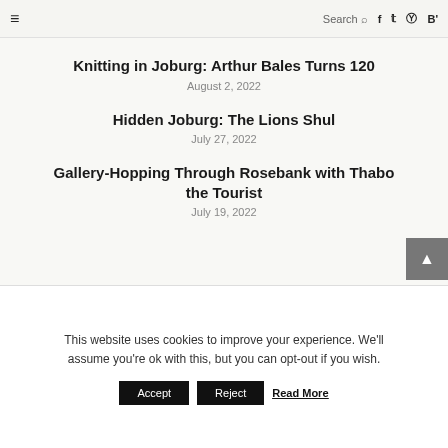≡  Search  f  t  ⊙  B'
Knitting in Joburg: Arthur Bales Turns 120
August 2, 2022
Hidden Joburg: The Lions Shul
July 27, 2022
Gallery-Hopping Through Rosebank with Thabo the Tourist
July 19, 2022
This website uses cookies to improve your experience. We'll assume you're ok with this, but you can opt-out if you wish.
Accept  Reject  Read More